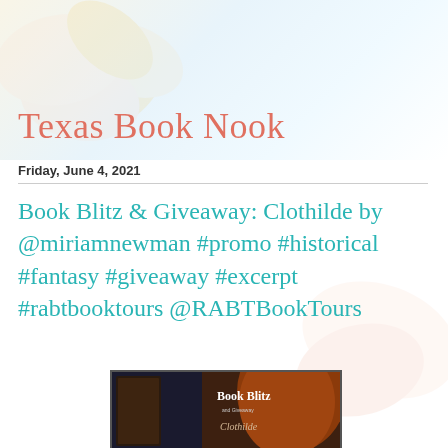Texas Book Nook
Friday, June 4, 2021
Book Blitz & Giveaway: Clothilde by @miriamnewman #promo #historical #fantasy #giveaway #excerpt #rabtbooktours @RABTBookTours
[Figure (photo): Book Blitz and Giveaway promotional image for Clothilde showing the book cover with a red-haired woman and text reading 'Book Blitz and Giveaway' and 'Clothilde']